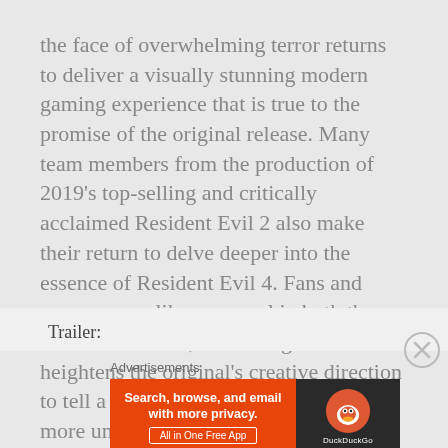the face of overwhelming terror returns to deliver a visually stunning modern gaming experience that is true to the promise of the original release. Many team members from the production of 2019's top-selling and critically acclaimed Resident Evil 2 also make their return to delve deeper into the essence of Resident Evil 4. Fans and newcomers alike can revel in both the new and familiar, as RE Engine heightens the original's creative direction to tell a story that is darker and even more unsettling.
Trailer:
[Figure (other): DuckDuckGo advertisement banner: orange left panel with text 'Search, browse, and email with more privacy. All in One Free App' and dark right panel with DuckDuckGo duck logo]